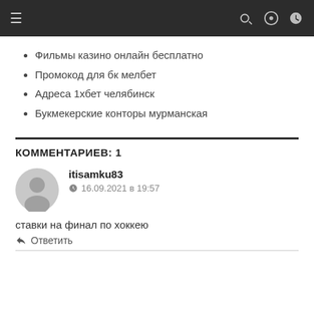Фильмы казино онлайн бесплатно
Промокод для бк мелбет
Адреса 1хбет челябинск
Букмекерские конторы мурманская
КОММЕНТАРИЕВ: 1
itisamku83
16.09.2021 в 19:57
ставки на финал по хоккею
Ответить